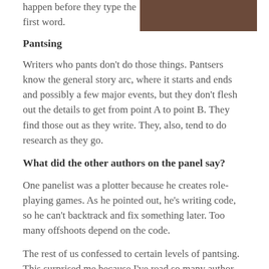happen before they type the first word.
[Figure (photo): Partial photo of a person wearing a brown textured jacket, cropped view of torso/shoulder area]
Pantsing
Writers who pants don't do those things. Pantsers know the general story arc, where it starts and ends and possibly a few major events, but they don't flesh out the details to get from point A to point B. They find those out as they write. They, also, tend to do research as they go.
What did the other authors on the panel say?
One panelist was a plotter because he creates role-playing games. As he pointed out, he's writing code, so he can't backtrack and fix something later. Too many offshoots depend on the code.
The rest of us confessed to certain levels of pantsing. This surprised me because I've read so many author interviews that